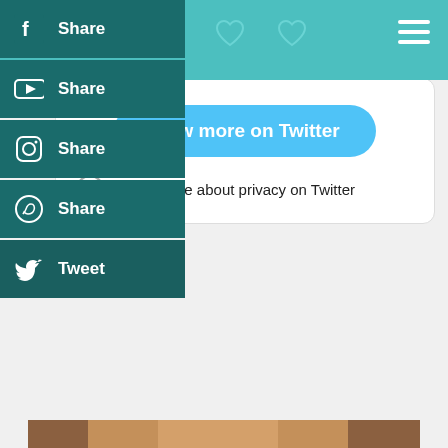[Figure (screenshot): Teal/turquoise top navigation bar with hamburger menu icon on the right and heart icons visible]
[Figure (screenshot): Social media share sidebar buttons: Facebook Share, YouTube Share, Instagram Share, WhatsApp Share, Twitter Tweet — all dark teal colored]
[Figure (screenshot): Twitter embed widget box with 'View more on Twitter' blue pill button and 'Learn more about privacy on Twitter' text with info icon]
[Figure (photo): Close-up selfie photo of a middle-aged man with short grey/brown hair, thick dark rimmed glasses, wide expressive eyes, looking directly at camera with raised eyebrows]